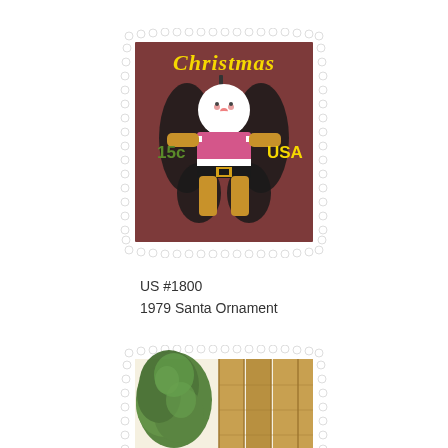[Figure (illustration): US postage stamp #1800 - 1979 Christmas 15c stamp featuring a Santa Claus ornament figure on a dark reddish-brown background with perforated edges. Text reads 'Christmas' in yellow script at top, '15c' in green on left, 'USA' in yellow on right.]
US #1800
1979 Santa Ornament
[Figure (illustration): Partial view of a second US postage stamp showing Christmas scene with greenery/wreath and wooden door or fence, cream/beige background, with perforated edges visible.]